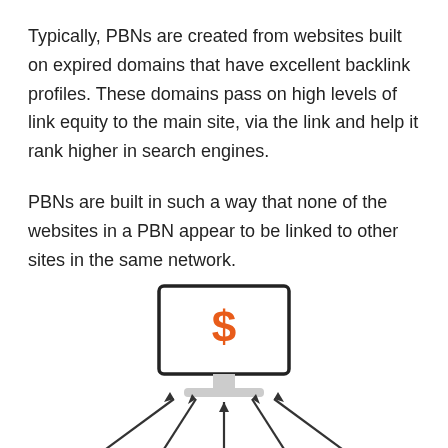Typically, PBNs are created from websites built on expired domains that have excellent backlink profiles. These domains pass on high levels of link equity to the main site, via the link and help it rank higher in search engines.
PBNs are built in such a way that none of the websites in a PBN appear to be linked to other sites in the same network.
[Figure (infographic): Monitor/computer screen icon with an orange dollar sign inside, labeled MONEY SITE below, with multiple arrows pointing upward toward it from below.]